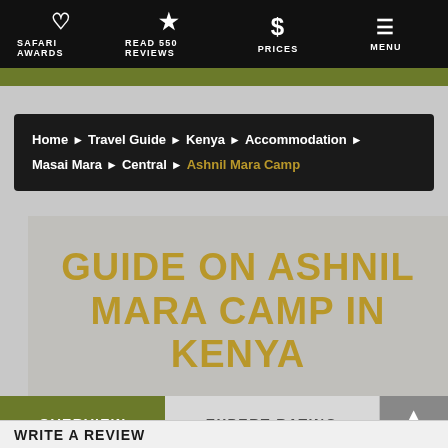SAFARI AWARDS | READ 550 REVIEWS | PRICES | MENU
Home ▶ Travel Guide ▶ Kenya ▶ Accommodation ▶ Masai Mara ▶ Central ▶ Ashnil Mara Camp
GUIDE ON ASHNIL MARA CAMP IN KENYA
OVERVIEW
EXPERT RATING
WRITE A REVIEW